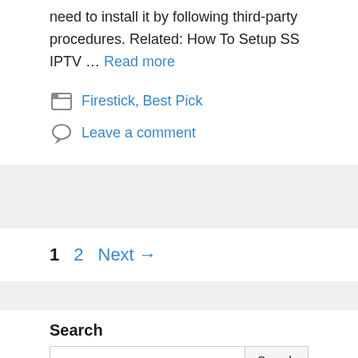need to install it by following third-party procedures. Related: How To Setup SS IPTV … Read more
Firestick, Best Pick
Leave a comment
1  2  Next →
Search
Search